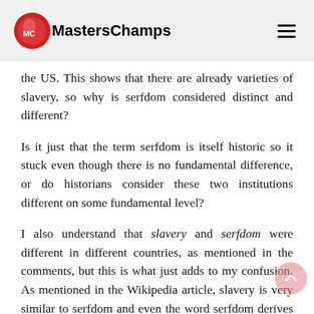MastersChamps
the US. This shows that there are already varieties of slavery, so why is serfdom considered distinct and different?
Is it just that the term serfdom is itself historic so it stuck even though there is no fundamental difference, or do historians consider these two institutions different on some fundamental level?
I also understand that slavery and serfdom were different in different countries, as mentioned in the comments, but this is what just adds to my confusion. As mentioned in the Wikipedia article, slavery is very similar to serfdom and even the word serfdom derives from the